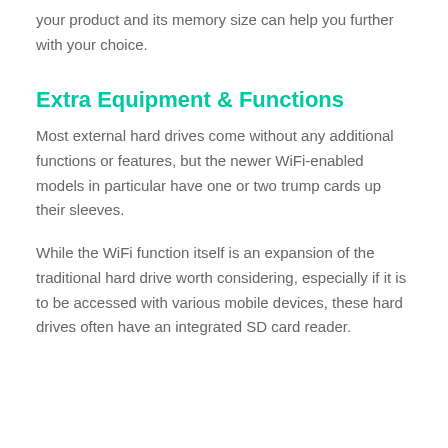your product and its memory size can help you further with your choice.
Extra Equipment & Functions
Most external hard drives come without any additional functions or features, but the newer WiFi-enabled models in particular have one or two trump cards up their sleeves.
While the WiFi function itself is an expansion of the traditional hard drive worth considering, especially if it is to be accessed with various mobile devices, these hard drives often have an integrated SD card reader.